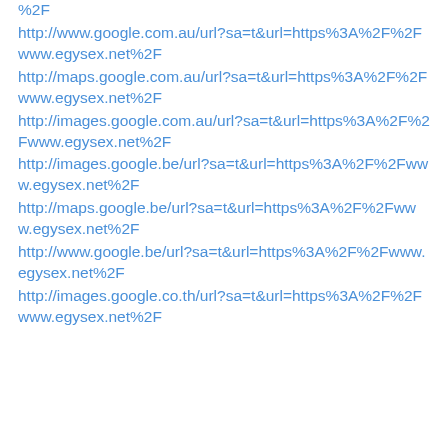%2F
http://www.google.com.au/url?sa=t&url=https%3A%2F%2Fwww.egysex.net%2F
http://maps.google.com.au/url?sa=t&url=https%3A%2F%2Fwww.egysex.net%2F
http://images.google.com.au/url?sa=t&url=https%3A%2F%2Fwww.egysex.net%2F
http://images.google.be/url?sa=t&url=https%3A%2F%2Fwww.egysex.net%2F
http://maps.google.be/url?sa=t&url=https%3A%2F%2Fwww.egysex.net%2F
http://www.google.be/url?sa=t&url=https%3A%2F%2Fwww.egysex.net%2F
http://images.google.co.th/url?sa=t&url=https%3A%2F%2Fwww.egysex.net%2F